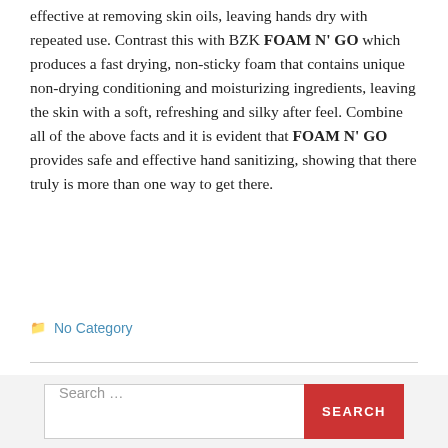effective at removing skin oils, leaving hands dry with repeated use. Contrast this with BZK FOAM N' GO which produces a fast drying, non-sticky foam that contains unique non-drying conditioning and moisturizing ingredients, leaving the skin with a soft, refreshing and silky after feel. Combine all of the above facts and it is evident that FOAM N' GO provides safe and effective hand sanitizing, showing that there truly is more than one way to get there.
No Category